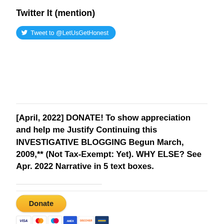Twitter It (mention)
[Figure (other): Twitter button: Tweet to @LetUsGetHonest]
[April, 2022] DONATE! To show appreciation and help me Justify Continuing this INVESTIGATIVE BLOGGING Begun March, 2009,** (Not Tax-Exempt: Yet). WHY ELSE? See Apr. 2022 Narrative in 5 text boxes.
[Figure (other): PayPal Donate button with credit card logos: Visa, Mastercard, Maestro, American Express, Discover, and another card]